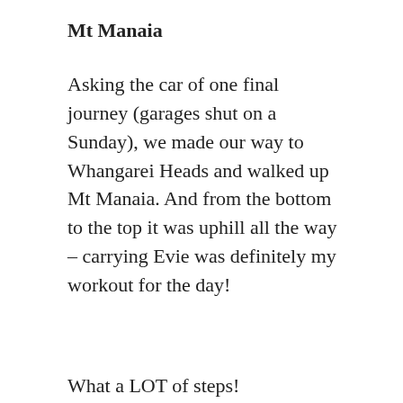Mt Manaia
Asking the car of one final journey (garages shut on a Sunday), we made our way to Whangarei Heads and walked up Mt Manaia. And from the bottom to the top it was uphill all the way – carrying Evie was definitely my workout for the day!
What a LOT of steps!
After enjoying the view from the top we headed